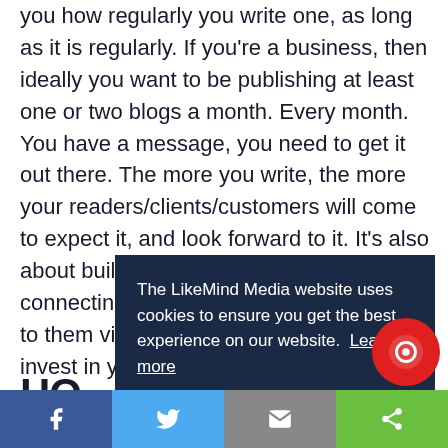you how regularly you write one, as long as it is regularly. If you're a business, then ideally you want to be publishing at least one or two blogs a month. Every month. You have a message, you need to get it out there. The more you write, the more your readers/clients/customers will come to expect it, and look forward to it. It's also about building trust – if you're regularly connecting with your audience, speaking to them via your blogs, the more they'll invest in yo... they... cust... have...
The LikeMind Media website uses cookies to ensure you get the best experience on our website. Learn more
GOT IT!
HO
[Figure (infographic): Social sharing bar at the bottom with Facebook, Twitter, Email, and Share buttons]